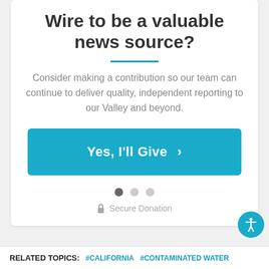Wire to be a valuable news source?
Consider making a contribution so our team can continue to deliver quality, independent reporting to our Valley and beyond.
Yes, I'll Give >
Secure Donation
RELATED TOPICS: #CALIFORNIA #CONTAMINATED WATER